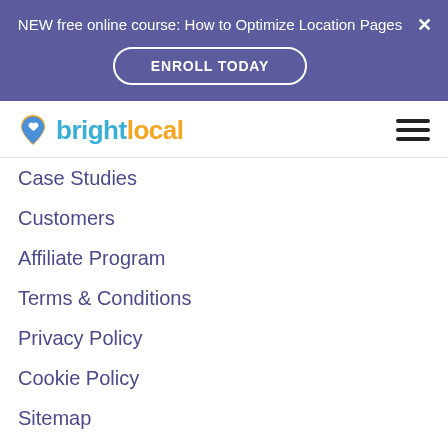NEW free online course: How to Optimize Location Pages
ENROLL TODAY
[Figure (logo): BrightLocal logo with location pin icon]
Case Studies
Customers
Affiliate Program
Terms & Conditions
Privacy Policy
Cookie Policy
Sitemap
Customers
Login